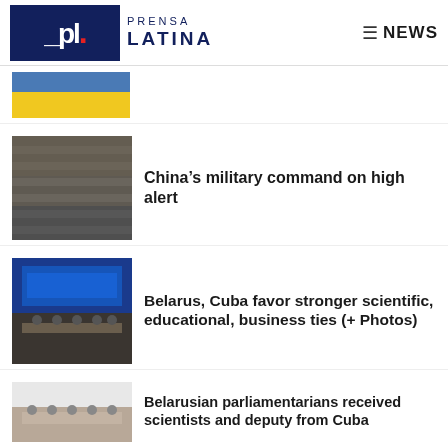Prensa Latina NEWS
[Figure (photo): Partial view of a photo with a blue/yellow flag, cropped at top of page]
China's military command on high alert
[Figure (photo): Rows of Chinese military soldiers in uniform standing in formation]
Belarus, Cuba favor stronger scientific, educational, business ties (+ Photos)
[Figure (photo): Officials seated at a conference table in front of a large blue screen display]
Belarusian parliamentarians received scientists and deputy from Cuba
[Figure (photo): Officials seated around a meeting table in a formal room]